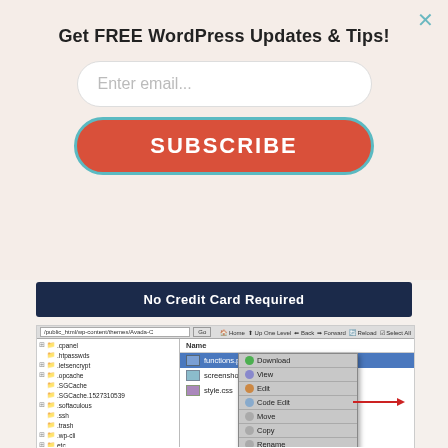Get FREE WordPress Updates & Tips!
[Figure (screenshot): Email subscription popup with 'Enter email...' input field, SUBSCRIBE button, and 'No Credit Card Required' bar]
[Figure (screenshot): FTP client (FileZilla/cPanel file manager) showing file tree on left with folders like .cpanel, .htpasswds, .letsencrypt, .opcache, .SGCache, .SGCache.1527310539, .softaculous, .ssh, .trash, .wp-cli, etc, and file list on right showing functions.php (selected/highlighted), screenshot.png, style.css, with a right-click context menu showing options: Download, View, Edit, Code Edit (with red arrow pointing to it), Move, Copy, Rename, Change Permissions, Delete, Compress]